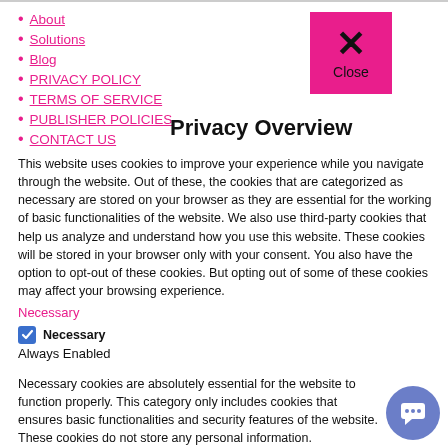About
Solutions
Blog
PRIVACY POLICY
TERMS OF SERVICE
PUBLISHER POLICIES
CONTACT US
[Figure (other): Pink close button with X mark and 'Close' label]
Privacy Overview
This website uses cookies to improve your experience while you navigate through the website. Out of these, the cookies that are categorized as necessary are stored on your browser as they are essential for the working of basic functionalities of the website. We also use third-party cookies that help us analyze and understand how you use this website. These cookies will be stored in your browser only with your consent. You also have the option to opt-out of these cookies. But opting out of some of these cookies may affect your browsing experience.
Necessary
✔ Necessary
Always Enabled
Necessary cookies are absolutely essential for the website to function properly. This category only includes cookies that ensures basic functionalities and security features of the website. These cookies do not store any personal information.